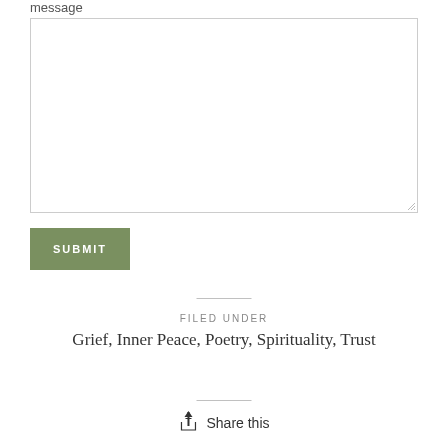message
[Figure (other): Empty textarea input field with resize handle]
SUBMIT
FILED UNDER
Grief, Inner Peace, Poetry, Spirituality, Trust
Share this